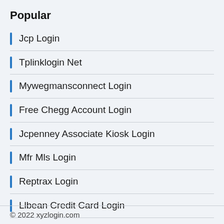Popular
Jcp Login
Tplinklogin Net
Mywegmansconnect Login
Free Chegg Account Login
Jcpenney Associate Kiosk Login
Mfr Mls Login
Reptrax Login
Llbean Credit Card Login
© 2022 xyzlogin.com